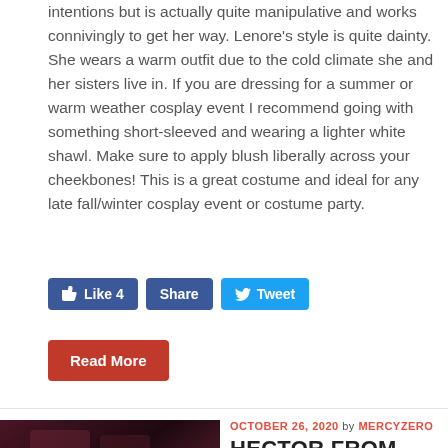intentions but is actually quite manipulative and works connivingly to get her way. Lenore's style is quite dainty. She wears a warm outfit due to the cold climate she and her sisters live in. If you are dressing for a summer or warm weather cosplay event I recommend going with something short-sleeved and wearing a lighter white shawl. Make sure to apply blush liberally across your cheekbones! This is a great costume and ideal for any late fall/winter cosplay event or costume party.
[Figure (screenshot): Social sharing buttons: Like 4 (Facebook blue), Share (Facebook blue), Tweet (Twitter blue)]
[Figure (screenshot): Red Read More button]
[Figure (photo): Dark thumbnail image of Hector from Castlevania, appears to show a character in a dark indoor setting]
OCTOBER 26, 2020 by MERCYZERO
HECTOR FROM CASTLEVANIA
Hector (played by Theo James) in the Netflix animated series Castlevania is a